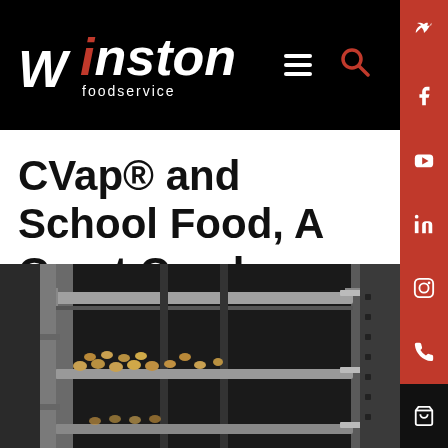[Figure (logo): Winston Foodservice logo — white bold italic text on black background with red dot above the 'i' in Winston, and 'foodservice' in smaller text below]
CVap® and School Food, A Great Combo
[Figure (photo): Interior of a CVap oven with stainless steel racks holding sheet pans of food items (appears to be tater tots or similar breaded items), dark industrial setting]